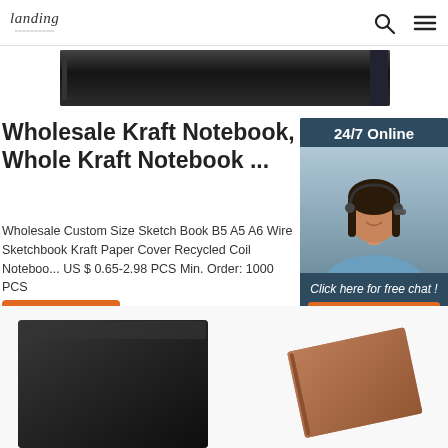landing | search | menu
[Figure (photo): Close-up of a black hardcover notebook spine, dark product photo strip]
Wholesale Kraft Notebook, Whole Kraft Notebook ...
Wholesale Custom Size Sketch Book B5 A5 A6 Wire Sketchbook Kraft Paper Cover Recycled Coil Notebook US $ 0.65-2.98 PCS Min. Order: 1000 PCS
[Figure (photo): Customer service representative woman with headset smiling, 24/7 Online chat widget with dark blue background]
Get Price
Click here for free chat !
QUOTATION
[Figure (photo): Black hardcover notebook box and kraft paper notebook product photo on white background]